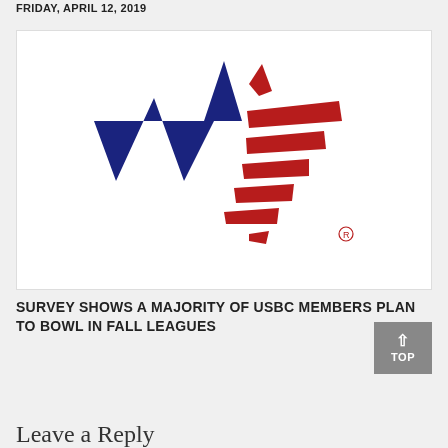FRIDAY, APRIL 12, 2019
[Figure (logo): USBC (United States Bowling Congress) logo featuring a blue star with red and white stripes on the right side forming horizontal bars, with a registered trademark symbol]
SURVEY SHOWS A MAJORITY OF USBC MEMBERS PLAN TO BOWL IN FALL LEAGUES
Leave a Reply